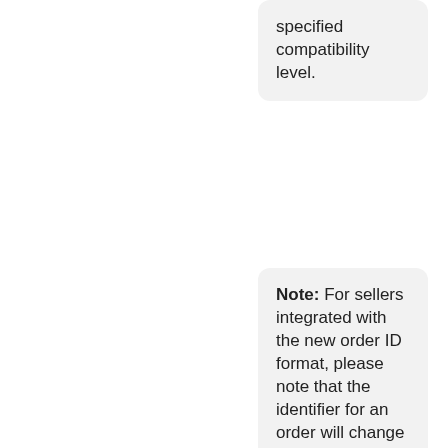specified compatibility level.
Note: For sellers integrated with the new order ID format, please note that the identifier for an order will change as it goes from unpaid to